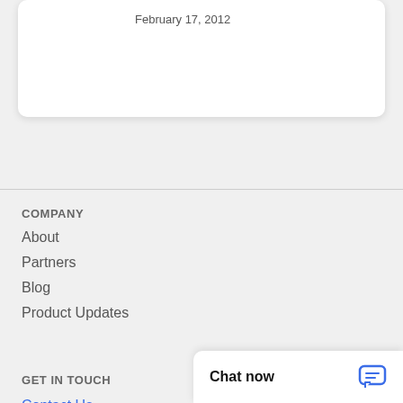February 17, 2012
COMPANY
About
Partners
Blog
Product Updates
GET IN TOUCH
Contact Us
Chat now